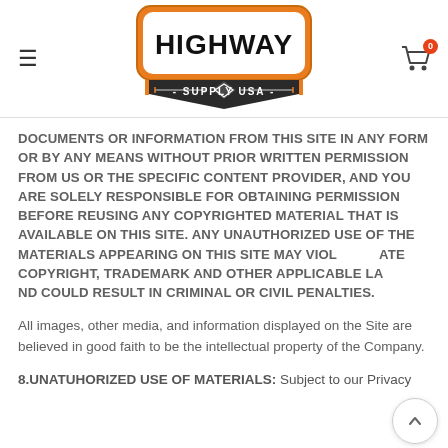[Figure (logo): Highway Supply USA logo — orange and black shield-shaped badge with 'HIGHWAY' in bold black text on white, '- SUPPLY USA -' on dark banner below, orange border]
DOCUMENTS OR INFORMATION FROM THIS SITE IN ANY FORM OR BY ANY MEANS WITHOUT PRIOR WRITTEN PERMISSION FROM US OR THE SPECIFIC CONTENT PROVIDER, AND YOU ARE SOLELY RESPONSIBLE FOR OBTAINING PERMISSION BEFORE REUSING ANY COPYRIGHTED MATERIAL THAT IS AVAILABLE ON THIS SITE. ANY UNAUTHORIZED USE OF THE MATERIALS APPEARING ON THIS SITE MAY VIOLATE COPYRIGHT, TRADEMARK AND OTHER APPLICABLE LAWS AND COULD RESULT IN CRIMINAL OR CIVIL PENALTIES.
All images, other media, and information displayed on the Site are believed in good faith to be the intellectual property of the Company.
8.UNATUHORIZED USE OF MATERIALS: Subject to our Privacy